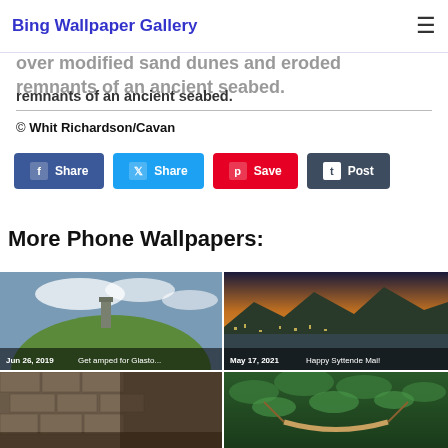Bing Wallpaper Gallery
intersecting rail system and stunning views. Popular trails take bicyclists three miles and over modified sand dunes and eroded remnants of an ancient seabed.
© Whit Richardson/Cavan
Share  Share  Save  Post
More Phone Wallpapers:
[Figure (photo): Thumbnail: Jun 26, 2019 - Get amped for Glasto... (green hill with tower)]
[Figure (photo): Thumbnail: May 17, 2021 - Happy Syttende Mai! (aerial city view at sunset)]
[Figure (photo): Thumbnail: bottom left (ancient ruins)]
[Figure (photo): Thumbnail: bottom right (green jungle/hammock)]